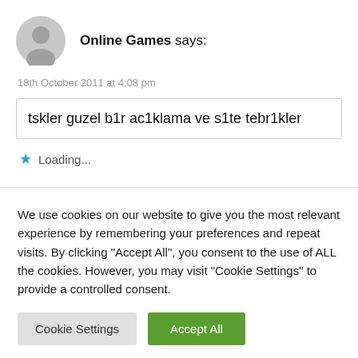Online Games says:
18th October 2011 at 4:08 pm
tskler guzel b1r ac1klama ve s1te tebr1kler
Loading...
We use cookies on our website to give you the most relevant experience by remembering your preferences and repeat visits. By clicking "Accept All", you consent to the use of ALL the cookies. However, you may visit "Cookie Settings" to provide a controlled consent.
Cookie Settings
Accept All